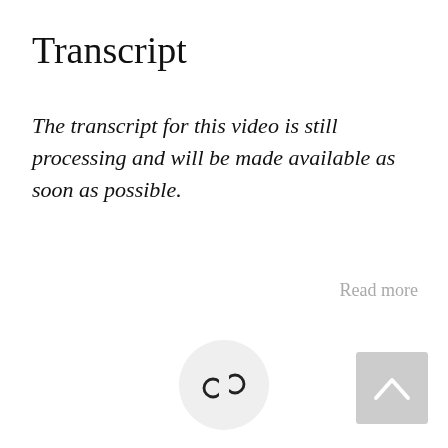Transcript
The transcript for this video is still processing and will be made available as soon as possible.
Read more
[Figure (other): A circular light grey button with a share/link icon (two interlocked circles) in the center]
[Figure (other): A light grey square button with an upward-pointing chevron arrow icon, positioned in the bottom right corner]